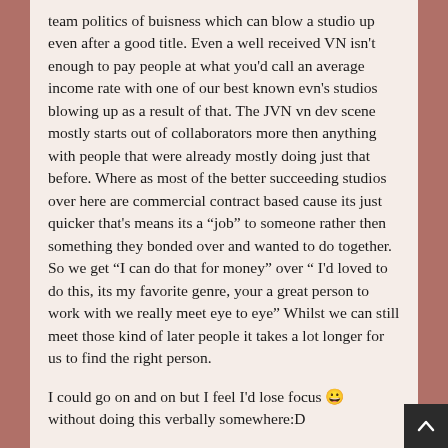team politics of buisness which can blow a studio up even after a good title. Even a well received VN isn't enough to pay people at what you'd call an average income rate with one of our best known evn's studios blowing up as a result of that. The JVN vn dev scene mostly starts out of collaborators more then anything with people that were already mostly doing just that before. Where as most of the better succeeding studios over here are commercial contract based cause its just quicker that's means its a “job” to someone rather then something they bonded over and wanted to do together. So we get “I can do that for money” over “ I'd loved to do this, its my favorite genre, your a great person to work with we really meet eye to eye” Whilst we can still meet those kind of later people it takes a lot longer for us to find the right person.
I could go on and on but I feel I'd lose focus 😀 without doing this verbally somewhere:D